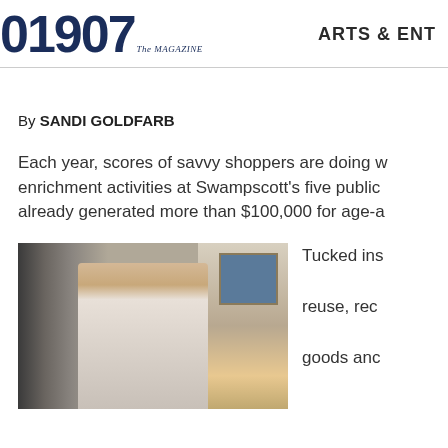01907 The Magazine | ARTS & ENT
By SANDI GOLDFARB
Each year, scores of savvy shoppers are doing w... enrichment activities at Swampscott's five public... already generated more than $100,000 for age-a...
[Figure (photo): Woman with glasses and blonde hair browsing clothing rack in a thrift/consignment shop; framed artwork visible in background on right]
Tucked ins... reuse, rec... goods anc...